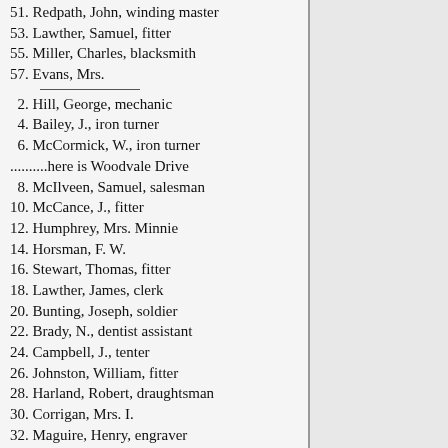51. Redpath, John, winding master
53. Lawther, Samuel, fitter
55. Miller, Charles, blacksmith
57. Evans, Mrs.
2. Hill, George, mechanic
4. Bailey, J., iron turner
6. McCormick, W., iron turner
..........here is Woodvale Drive
8. McIlveen, Samuel, salesman
10. McCance, J., fitter
12. Humphrey, Mrs. Minnie
14. Horsman, F. W.
16. Stewart, Thomas, fitter
18. Lawther, James, clerk
20. Bunting, Joseph, soldier
22. Brady, N., dentist assistant
24. Campbell, J., tenter
26. Johnston, William, fitter
28. Harland, Robert, draughtsman
30. Corrigan, Mrs. I.
32. Maguire, Henry, engraver
34. Forrest, W. A., optician
36. Kirkpatrick, Wm., lino operator